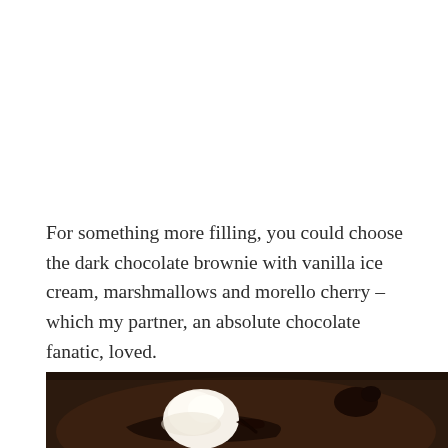For something more filling, you could choose the dark chocolate brownie with vanilla ice cream, marshmallows and morello cherry – which my partner, an absolute chocolate fanatic, loved.
[Figure (photo): Close-up photo of a dark chocolate brownie dessert on a dark plate, topped with a scoop of white vanilla ice cream and chocolate sauce drizzle, with a dark sepia/brown tone.]